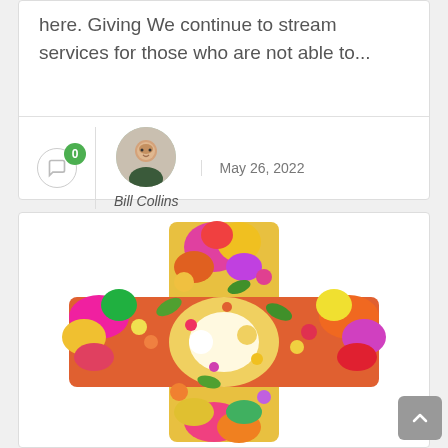here. Giving We continue to stream services for those who are not able to...
0
Bill Collins
May 26, 2022
[Figure (photo): A cross shape made entirely of colorful flowers including yellow, pink, red, purple, orange and white blooms.]